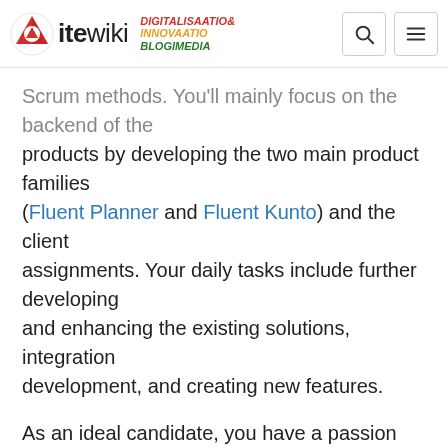ite wiki — DIGITALISAATIO& INNOVAATIO BLOGIMEDIA
Scrum methods. You'll mainly focus on the backend of the products by developing the two main product families (Fluent Planner and Fluent Kunto) and the client assignments. Your daily tasks include further developing and enhancing the existing solutions, integration development, and creating new features.
As an ideal candidate, you have a passion and interest in developing yourself and your skills. We value high quality in everything we do and hope that you share the same mindset. You have some experience and skills in backend development (Java, Spring Framework). You don't have to be a professional in everything - we believe that new skills will be learned and old ones will be deepened while working. The role can be modified according to your level of expertise and interest now and in the future. Working part-time is also negotiable so this job is easily adaptable